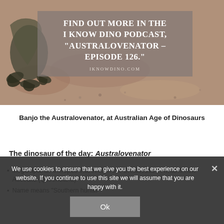[Figure (photo): Dinosaur claws/feet on gravel background with overlaid podcast promotion text box reading 'FIND OUT MORE IN THE I KNOW DINO PODCAST, "AUSTRALOVENATOR – EPISODE 126."' and URL 'IKNOWDINO.COM']
Banjo the Australovenator, at Australian Age of Dinosaurs
The dinosaur of the day: Australovenator
Megaraptoran theropod that lived in the Cretaceous in what is now Australia (Queensland)
Name means "Southern hunter"
We use cookies to ensure that we give you the best experience on our website. If you continue to use this site we will assume that you are happy with it.